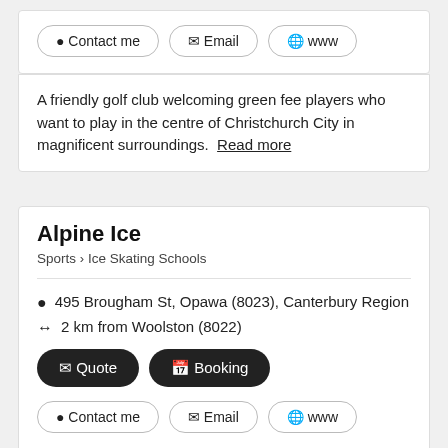Contact me | Email | www
A friendly golf club welcoming green fee players who want to play in the centre of Christchurch City in magnificent surroundings. Read more
Alpine Ice
Sports > Ice Skating Schools
495 Brougham St, Opawa (8023), Canterbury Region
2 km from Woolston (8022)
Quote | Booking
Contact me | Email | www